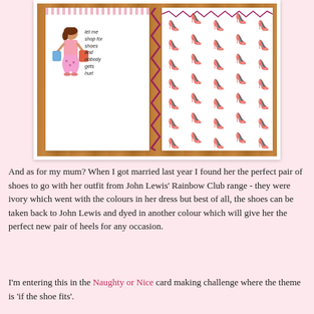[Figure (photo): A handmade greeting card with a shoe-shopping theme. The card features a cartoon woman holding shopping bags with text reading 'let me shop for shoes and nobody gets hurt'. The card has a zigzag ribbon trim and patterned paper with pink high heels. Photographed on a wooden surface.]
And as for my mum? When I got married last year I found her the perfect pair of shoes to go with her outfit from John Lewis' Rainbow Club range - they were ivory which went with the colours in her dress but best of all, the shoes can be taken back to John Lewis and dyed in another colour which will give her the perfect new pair of heels for any occasion.
I'm entering this in the Naughty or Nice card making challenge where the theme is 'if the shoe fits'.